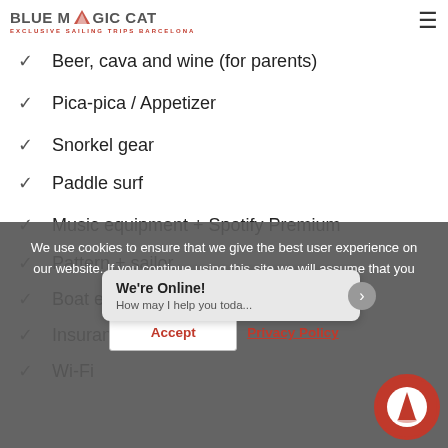BLUE MAGIC CAT | EXCLUSIVE SAILING TRIPS BARCELONA
Soft drinks, water and coffee
Beer, cava and wine (for parents)
Pica-pica / Appetizer
Snorkel gear
Paddle surf
Music equipment + Spotify Premium
Pattern + sailor
Boat expenses
Insurance + VAT
Wi-Fi
We use cookies to ensure that we give the best user experience on our website. If you continue using this site we will assume that you agree.
Accept | Privacy Policy
We're Online! How may I help you toda...